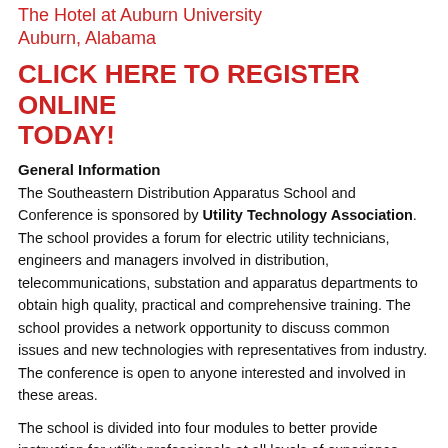The Hotel at Auburn University Auburn, Alabama
CLICK HERE TO REGISTER ONLINE TODAY!
General Information
The Southeastern Distribution Apparatus School and Conference is sponsored by Utility Technology Association.  The school provides a forum for electric utility technicians, engineers and managers involved in distribution, telecommunications, substation and apparatus departments to obtain high quality, practical and comprehensive training. The school provides a network opportunity to discuss common issues and new technologies with representatives from industry. The conference is open to anyone interested and involved in these areas.
The school is divided into four modules to better provide instruction for utility professionals at all levels of experience.  The courses are designed for participants to select topics they require or have an interest in. Classes range from Fundamentals and Applications of Distribution System Apparatus for the substation or apparatus technician to SCADA, Communications and Smart Grid applications for the utility engineer.